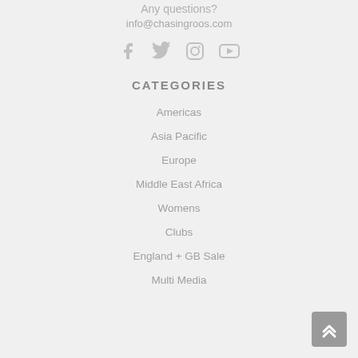Any questions?
info@chasingroos.com
[Figure (other): Social media icons: Facebook, Twitter, Instagram, YouTube]
CATEGORIES
Americas
Asia Pacific
Europe
Middle East Africa
Womens
Clubs
England + GB Sale
Multi Media